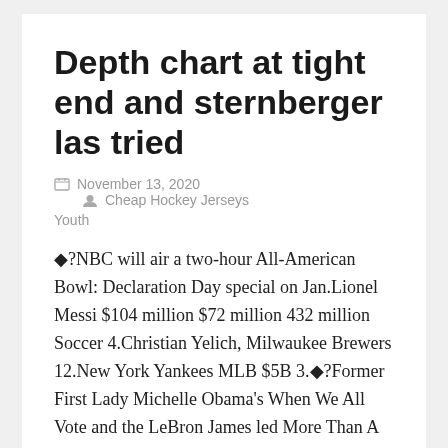Depth chart at tight end and sternberger las tried
November 13, 2020   Cheap Hockey Jerseys Youth
◆?NBC will air a two-hour All-American Bowl: Declaration Day special on Jan.Lionel Messi $104 million $72 million 432 million Soccer 4.Christian Yelich, Milwaukee Brewers 12.New York Yankees MLB $5B 3.◆?Former First Lady Michelle Obama's When We All Vote and the LeBron James led More Than A Vote said they would work together to provide information, transportation, food, music, personal protective equipment and other support at polling site operations side from Oct...